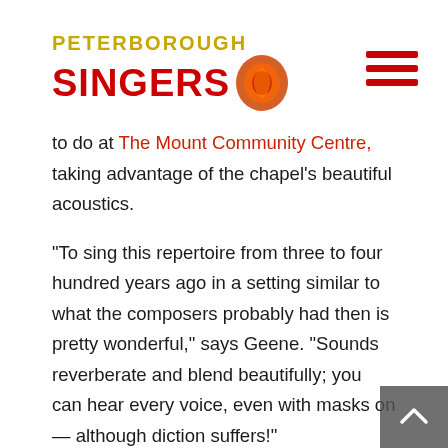PETERBOROUGH SINGERS
to do at The Mount Community Centre, taking advantage of the chapel’s beautiful acoustics.
“To sing this repertoire from three to four hundred years ago in a setting similar to what the composers probably had then is pretty wonderful,” says Geene. “Sounds reverberate and blend beautifully; you can hear every voice, even with masks on — although diction suffers!”
Pam Birrell, who’s led two small jazz groups, says she’s been struck by the participants “excitement, joy, and eagerness to learn,” adding that the sessions have become the highlight of her own week as well. As for